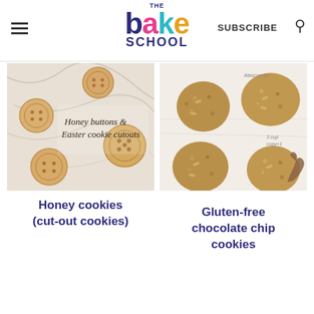THE BAKE SCHOOL — SUBSCRIBE
[Figure (photo): Honey button cookies and Easter cookie cutouts arranged on a marble surface with script text overlay reading 'Honey buttons & Easter cookie cutouts']
[Figure (photo): Four round gluten-free chocolate chip cookies on parchment paper, with a hand holding one cookie]
Honey cookies (cut-out cookies)
Gluten-free chocolate chip cookies